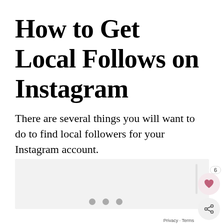How to Get Local Follows on Instagram
There are several things you will want to do to find local followers for your Instagram account.
[Figure (other): Gray placeholder content box]
Privacy · Terms  6